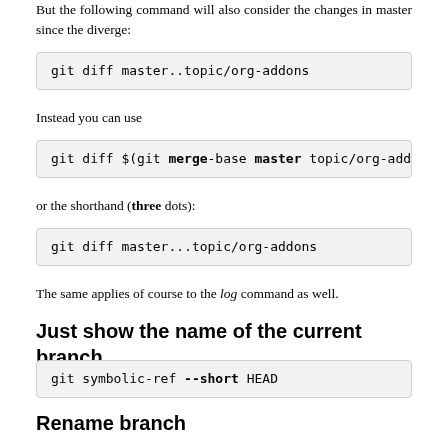But the following command will also consider the changes in master since the diverge:
git diff master..topic/org-addons
Instead you can use
git diff $(git merge-base master topic/org-addons)..t
or the shorthand (three dots):
git diff master...topic/org-addons
The same applies of course to the log command as well.
Just show the name of the current branch
git symbolic-ref --short HEAD
Rename branch
This renames the current branch. It doesn't affect the remote branch.